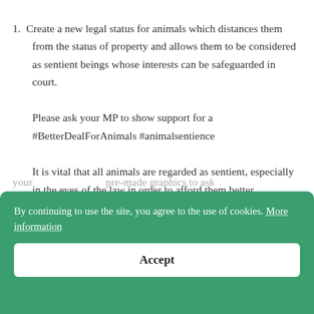Create a new legal status for animals which distances them from the status of property and allows them to be considered as sentient beings whose interests can be safeguarded in court.
Please ask your MP to show support for a #BetterDealForAnimals #animalsentience
It is vital that all animals are regarded as sentient, especially in the eyes of the law in order to afford them better protection.
With just under 100 days to go until the end of the UK's
your ... pre-made graphics to ask
sentience is enshrined in UK law.
By continuing to use the site, you agree to the use of cookies. More information
Accept